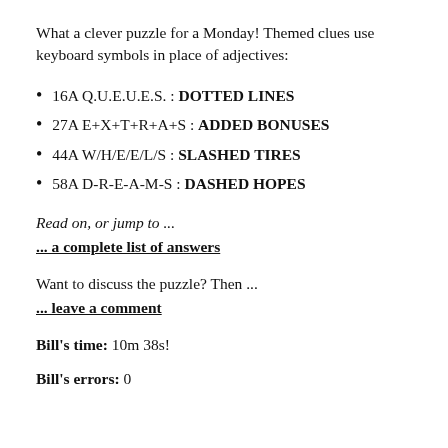What a clever puzzle for a Monday! Themed clues use keyboard symbols in place of adjectives:
16A Q.U.E.U.E.S. : DOTTED LINES
27A E+X+T+R+A+S : ADDED BONUSES
44A W/H/E/E/L/S : SLASHED TIRES
58A D-R-E-A-M-S : DASHED HOPES
Read on, or jump to ...
... a complete list of answers
Want to discuss the puzzle? Then ...
... leave a comment
Bill's time: 10m 38s!
Bill's errors: 0